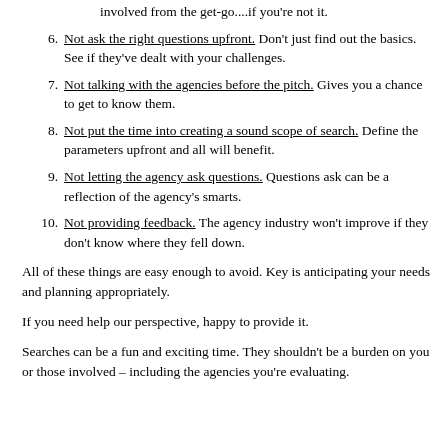(partial) involved from the get-go....if you're not it.
6. Not ask the right questions upfront.  Don't just find out the basics.  See if they've dealt with your challenges.
7. Not talking with the agencies before the pitch.  Gives you a chance to get to know them.
8. Not put the time into creating a sound scope of search.  Define the parameters upfront and all will benefit.
9. Not letting the agency ask questions.  Questions ask can be a reflection of the agency's smarts.
10. Not providing feedback.  The agency industry won't improve if they don't know where they fell down.
All of these things are easy enough to avoid.  Key is anticipating your needs and planning appropriately.
If you need help our perspective, happy to provide it.
Searches can be a fun and exciting time.  They shouldn't be a burden on you or those involved – including the agencies you're evaluating.